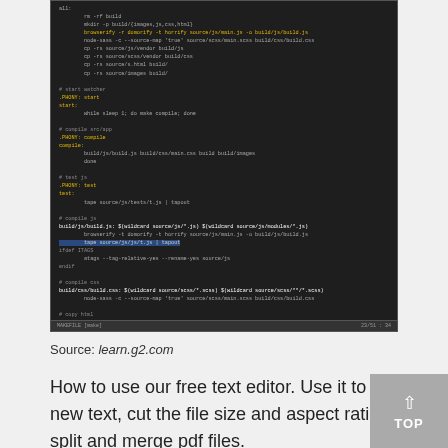[Figure (screenshot): A dark-themed code editor screenshot showing a Makefile with build, compile, and test targets. Yellow text for Makefile targets and directives, gray/white for commands. A status bar at the bottom shows 'MAKEFILE [make]' and '23/51 : 34'.]
Source: learn.g2.com
How to use our free text editor. Use it to add new text, cut the file size and aspect ratio, or split and merge pdf files.